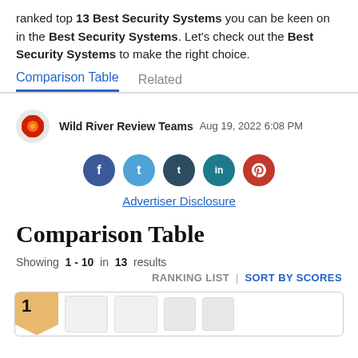ranked top 13 Best Security Systems you can be keen on in the Best Security Systems. Let's check out the Best Security Systems to make the right choice.
Comparison Table | Related
Wild River Review Teams  Aug 19, 2022 6:08 PM
[Figure (infographic): Social sharing buttons: Facebook (blue), Twitter (light blue), Tumblr (dark blue), LinkedIn (teal), Pinterest (red)]
Advertiser Disclosure
Comparison Table
Showing 1 - 10 in 13 results
RANKING LIST | SORT BY SCORES
[Figure (other): Rank #1 card with gold badge showing number 1 and product images of security system panels]